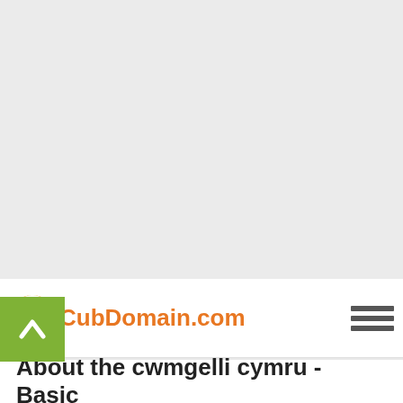[Figure (screenshot): Large grey/light background area representing a webpage content area or advertisement space]
[Figure (logo): CubDomain.com logo with orange circular wifi-like icon and orange text 'CubDomain.com', alongside a hamburger menu icon with three dark horizontal bars]
About the cwmgelli cymru - Basic